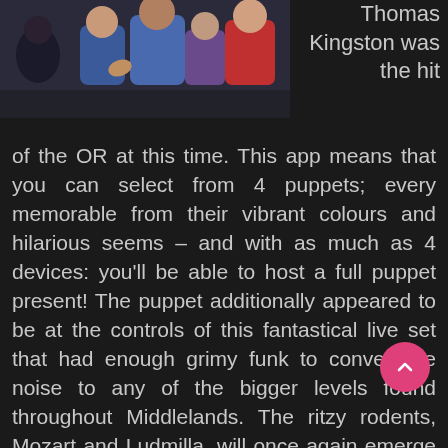[Figure (photo): A group of colorful animated puppet/cartoon characters in a dark-themed scene, including characters in blue and red outfits. Partially visible at the top of the page.]
Thomas Kingston was the hit of the OR at this time. This app means that you can select from 4 puppets; every memorable from their vibrant colours and hilarious seems – and with as much as 4 devices: you'll be able to host a full puppet present! The puppet additionally appeared to be at the controls of this fantastical live set that had enough grimy funk to convey the noise to any of the bigger levels found throughout Middlelands. The ritzy rodents, Mozart and Ludmilla, will once again emerge from their piano to host the Christmas marionette variety present. If there's any lesson from the pure fun, it is that the more tightly you try to repress deviance, the extra forcefully it rears its sock puppet head.